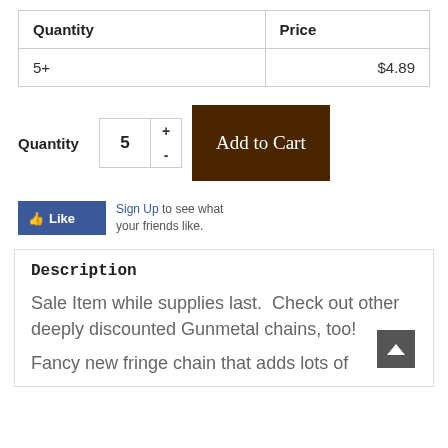| Quantity | Price |
| --- | --- |
| 5+ | $4.89 |
Quantity 5 + - Add to Cart
[Figure (other): Facebook Like button with Sign Up link and text 'to see what your friends like.']
Description
Sale Item while supplies last.  Check out other deeply discounted Gunmetal chains, too!
Fancy new fringe chain that adds lots of